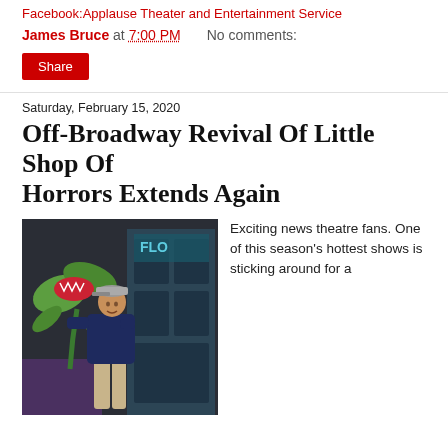Facebook:Applause Theater and Entertainment Service
James Bruce at 7:00 PM    No comments:
Share
Saturday, February 15, 2020
Off-Broadway Revival Of Little Shop Of Horrors Extends Again
[Figure (photo): A man in a navy hoodie and khaki pants carrying/wrestling a large puppet venus flytrap plant on a dark stage set with a storefront door labeled 'FLO']
Exciting news theatre fans. One of this season's hottest shows is sticking around for a